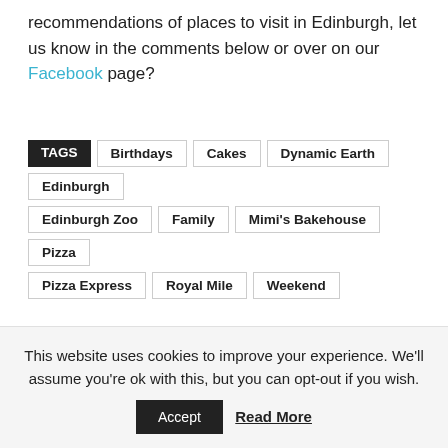recommendations of places to visit in Edinburgh, let us know in the comments below or over on our Facebook page?
TAGS  Birthdays  Cakes  Dynamic Earth  Edinburgh  Edinburgh Zoo  Family  Mimi's Bakehouse  Pizza  Pizza Express  Royal Mile  Weekend
[Figure (other): Social share buttons: Facebook (blue), Twitter (light blue), Pinterest (red), WhatsApp (green)]
Previous article    Next article
This website uses cookies to improve your experience. We'll assume you're ok with this, but you can opt-out if you wish.
Accept   Read More